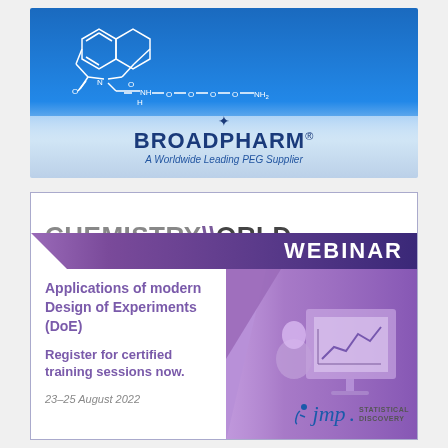[Figure (illustration): BroadPharm banner with chemical structure (PEG linker molecule) on blue gradient background, with BroadPharm logo and tagline 'A Worldwide Leading PEG Supplier']
[Figure (infographic): Chemistry World Webinar advertisement box. Header: 'CHEMISTRY WORLD WEBINAR'. Text: 'Applications of modern Design of Experiments (DoE)'. 'Register for certified training sessions now.' Date: '23-25 August 2022'. JMP Statistical Discovery logo.]